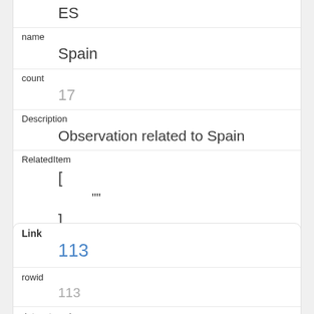| ES |
| name | Spain |
| count | 17 |
| Description | Observation related to Spain |
| RelatedItem | [
  ""
] |
| Link | 113 |
| rowid | 113 |
| dataset_code | gbard_environment_nabs02_eur_hab |
| var_name | geo |